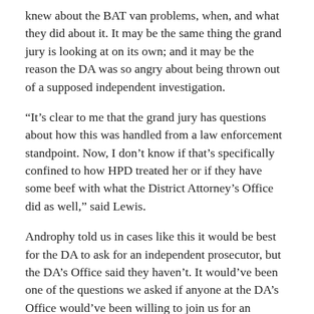knew about the BAT van problems, when, and what they did about it. It may be the same thing the grand jury is looking at on its own; and it may be the reason the DA was so angry about being thrown out of a supposed independent investigation.
“It’s clear to me that the grand jury has questions about how this was handled from a law enforcement standpoint. Now, I don’t know if that’s specifically confined to how HPD treated her or if they have some beef with what the District Attorney’s Office did as well,” said Lewis.
Androphy told us in cases like this it would be best for the DA to ask for an independent prosecutor, but the DA’s Office said they haven’t. It would’ve been one of the questions we asked if anyone at the DA’s Office would’ve been willing to join us for an interview, but no one was.
13 Undercover and Wayne Dolcefino exposed the potential maintenance problems with the BAT vans back in March. We found documents detailing electrical problems that kept some of the very expensive mobile